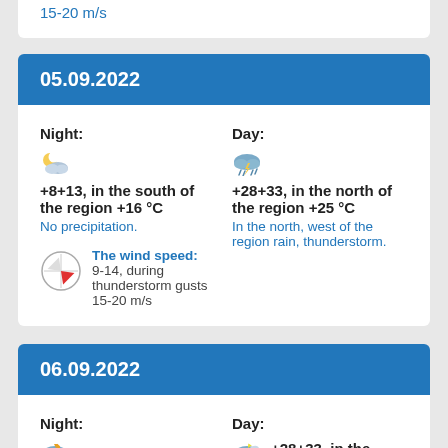15-20 m/s
05.09.2022
Night:
+8+13, in the south of the region +16 °C
No precipitation.
The wind speed: 9-14, during thunderstorm gusts 15-20 m/s
Day:
+28+33, in the north of the region +25 °C
In the north, west of the region rain, thunderstorm.
06.09.2022
Night:
+12+17, in the south
Day:
+28+33, in the